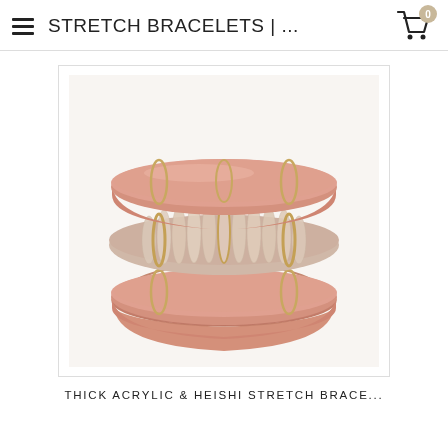STRETCH BRACELETS | ...
[Figure (photo): Stack of three stretch bracelets in dusty rose/blush pink color — two thick acrylic tube-style bangles and one heishi bead bracelet in the middle with cream/tan flat disc beads and gold ring accents, photographed on white background.]
THICK ACRYLIC & HEISHI STRETCH BRACE...